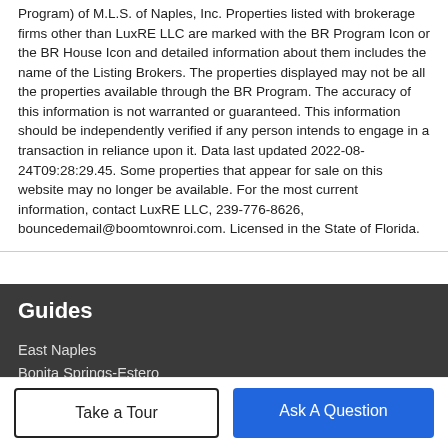Program) of M.L.S. of Naples, Inc. Properties listed with brokerage firms other than LuxRE LLC are marked with the BR Program Icon or the BR House Icon and detailed information about them includes the name of the Listing Brokers. The properties displayed may not be all the properties available through the BR Program. The accuracy of this information is not warranted or guaranteed. This information should be independently verified if any person intends to engage in a transaction in reliance upon it. Data last updated 2022-08-24T09:28:29.45. Some properties that appear for sale on this website may no longer be available. For the most current information, contact LuxRE LLC, 239-776-8626, bouncedemail@boomtownroi.com. Licensed in the State of Florida.
Guides
East Naples
Bonita Springs-Estero
Take a Tour
Ask A Question